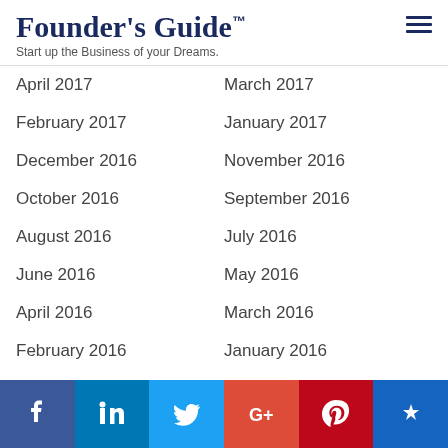Founder's Guide™
Start up the Business of your Dreams.
April 2017
March 2017
February 2017
January 2017
December 2016
November 2016
October 2016
September 2016
August 2016
July 2016
June 2016
May 2016
April 2016
March 2016
February 2016
January 2016
December 2015
November 2015
October 2015
September 2015